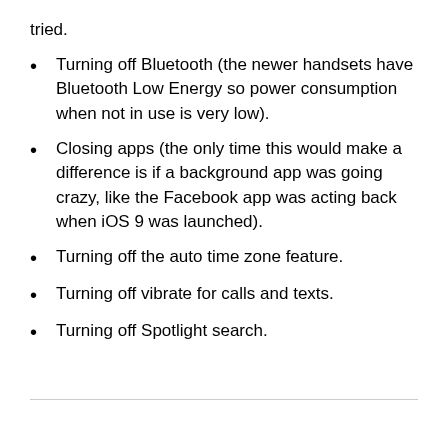tried.
Turning off Bluetooth (the newer handsets have Bluetooth Low Energy so power consumption when not in use is very low).
Closing apps (the only time this would make a difference is if a background app was going crazy, like the Facebook app was acting back when iOS 9 was launched).
Turning off the auto time zone feature.
Turning off vibrate for calls and texts.
Turning off Spotlight search.